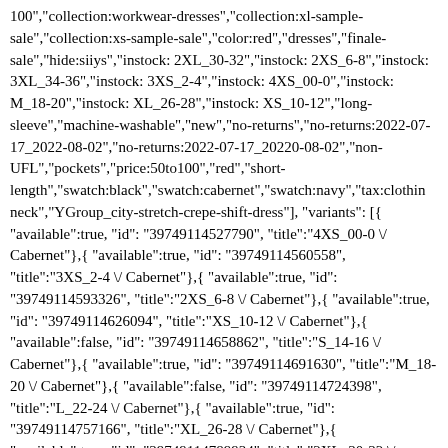100","collection:workwear-dresses","collection:xl-sample-sale","collection:xs-sample-sale","color:red","dresses","finale-sale","hide:siiys","instock: 2XL_30-32","instock: 2XS_6-8","instock: 3XL_34-36","instock: 3XS_2-4","instock: 4XS_00-0","instock: M_18-20","instock: XL_26-28","instock: XS_10-12","long-sleeve","machine-washable","new","no-returns","no-returns:2022-07-17_2022-08-02","no-returns:2022-07-17_20220-08-02","non-UFL","pockets","price:50to100","red","short-length","swatch:black","swatch:cabernet","swatch:navy","tax:clothing","neck","YGroup_city-stretch-crepe-shift-dress"], "variants": [{"available":true, "id": "39749114527790", "title":"4XS_00-0 \/ Cabernet"},{"available":true, "id": "39749114560558", "title":"3XS_2-4 \/ Cabernet"},{"available":true, "id": "39749114593326", "title":"2XS_6-8 \/ Cabernet"},{"available":true, "id": "39749114626094", "title":"XS_10-12 \/ Cabernet"},{"available":false, "id": "39749114658862", "title":"S_14-16 \/ Cabernet"},{"available":true, "id": "39749114691630", "title":"M_18-20 \/ Cabernet"},{"available":false, "id": "39749114724398", "title":"L_22-24 \/ Cabernet"},{"available":true, "id": "39749114757166", "title":"XL_26-28 \/ Cabernet"},{"available":true, "id": "39749114789934", "title":"2XL_30-32 \/ Cabernet"},{"available":true, "id": "39749114822702", "title":"3XL_34-36 \/ Cabernet"},{"available":false, "id": "39749114855470", "title":"4XL_38-40 \/ Cabernet"}] },{"id": "777668853806",